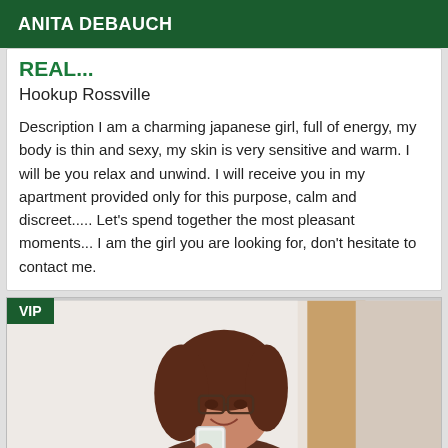ANITA DEBAUCH
REAL...
Hookup Rossville
Description I am a charming japanese girl, full of energy, my body is thin and sexy, my skin is very sensitive and warm. I will be you relax and unwind. I will receive you in my apartment provided only for this purpose, calm and discreet..... Let's spend together the most pleasant moments... I am the girl you are looking for, don't hesitate to contact me.
[Figure (photo): Woman with glasses taking a selfie in a mirror, holding a white phone, with brown hair, partial view]